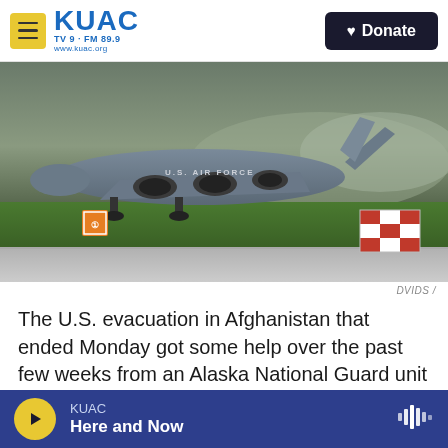KUAC TV 9 · FM 89.9 www.kuac.org | Donate
[Figure (photo): A U.S. Air Force C-17 Globemaster III military cargo aircraft on a runway with green grass and a red-and-white checkered ground marker visible in the background.]
DVIDS /
The U.S. evacuation in Afghanistan that ended Monday got some help over the past few weeks from an Alaska National Guard unit based at Joint Base Elmendorf Richardson.
An Alaska Air National Guard spokesperson says
KUAC | Here and Now